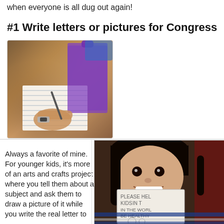when everyone is all dug out again!
#1 Write letters or pictures for Congress
[Figure (photo): A child writing on a notepad on a purple clipboard, with hands visible and a pen/pencil in use.]
Always a favorite of mine. For younger kids, it’s more of an arts and crafts project where you tell them about a subject and ask them to draw a picture of it while you write the real letter to
[Figure (photo): A smiling girl holding up a handwritten sign that reads 'PLEASE HEL KIDS IN THE WORLD BE HEALTHY' with drawings below the text.]